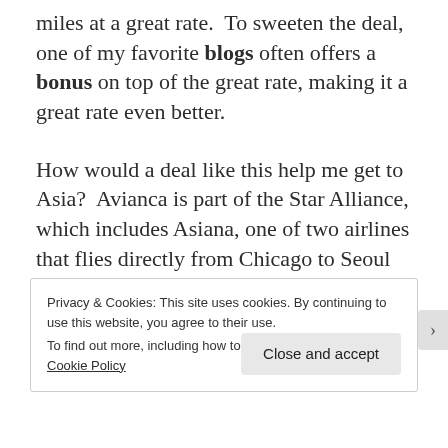miles at a great rate.  To sweeten the deal, one of my favorite blogs often offers a bonus on top of the great rate, making it a great rate even better.
How would a deal like this help me get to Asia?  Avianca is part of the Star Alliance, which includes Asiana, one of two airlines that flies directly from Chicago to Seoul (the other being Korean Air).  Business class award availability on Asiana is fan-freaking-tastic on LifeMiles.
Privacy & Cookies: This site uses cookies. By continuing to use this website, you agree to their use.
To find out more, including how to control cookies, see here: Cookie Policy
Close and accept